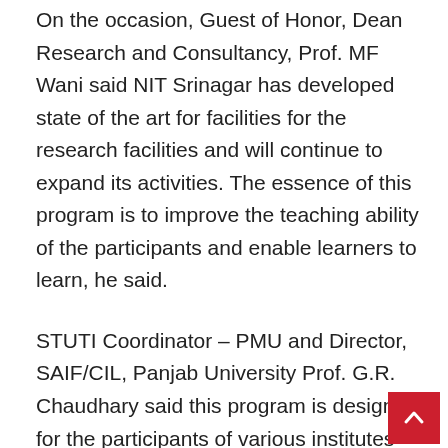On the occasion, Guest of Honor, Dean Research and Consultancy, Prof. MF Wani said NIT Srinagar has developed state of the art for facilities for the research facilities and will continue to expand its activities. The essence of this program is to improve the teaching ability of the participants and enable learners to learn, he said.
STUTI Coordinator – PMU and Director, SAIF/CIL, Panjab University Prof. G.R. Chaudhary said this program is designed for the participants of various institutes across the country. They will be given hands-on training on high-end sophisticated, analytical instrumentation in addition to expert lectures from the eminent scientists, he said.